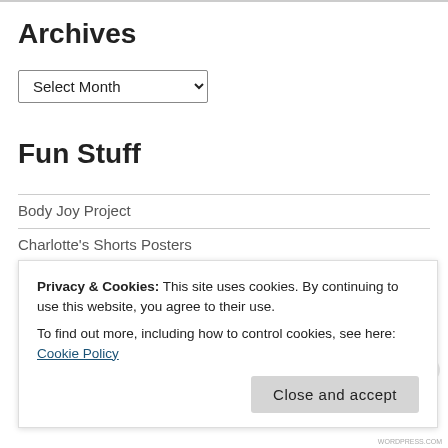Archives
Select Month
Fun Stuff
Body Joy Project
Charlotte's Shorts Posters
Charlotte's Web Site
My Crazy Baby Brother
Privacy & Cookies: This site uses cookies. By continuing to use this website, you agree to their use.
To find out more, including how to control cookies, see here: Cookie Policy
Close and accept